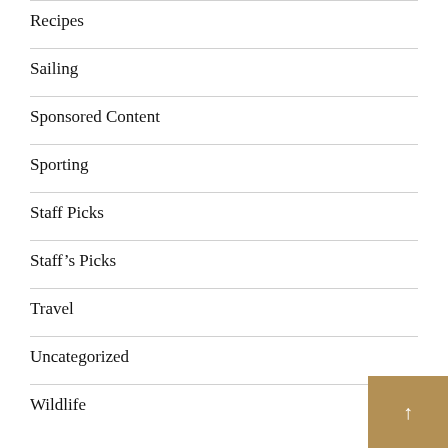Recipes
Sailing
Sponsored Content
Sporting
Staff Picks
Staff's Picks
Travel
Uncategorized
Wildlife